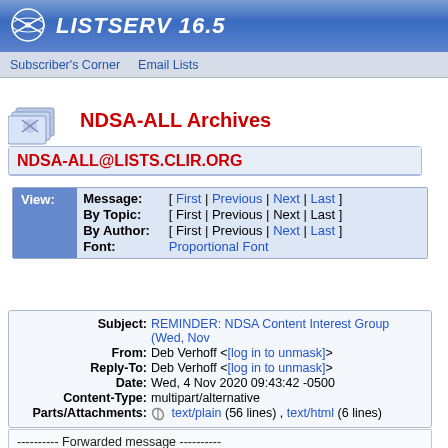LISTSERV 16.5
Subscriber's Corner  Email Lists
NDSA-ALL Archives
NDSA-ALL@LISTS.CLIR.ORG
View: Message: [ First | Previous | Next | Last ] By Topic: [ First | Previous | Next | Last ] By Author: [ First | Previous | Next | Last ] Font: Proportional Font
Subject: REMINDER: NDSA Content Interest Group (Wed, Nov From: Deb Verhoff <[log in to unmask]> Reply-To: Deb Verhoff <[log in to unmask]> Date: Wed, 4 Nov 2020 09:43:42 -0500 Content-Type: multipart/alternative Parts/Attachments: text/plain (56 lines) , text/html (6 lines)
---------- Forwarded message ----------